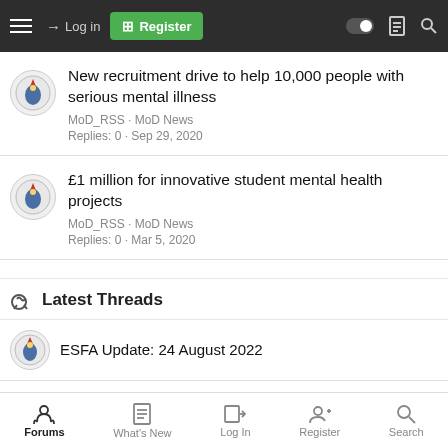Log in | Register
New recruitment drive to help 10,000 people with serious mental illness
MoD_RSS · MoD News
Replies: 0 · Sep 29, 2020
£1 million for innovative student mental health projects
MoD_RSS · MoD News
Replies: 0 · Mar 5, 2020
Latest Threads
ESFA Update: 24 August 2022
Forums | What's New | Log In | Register | Search